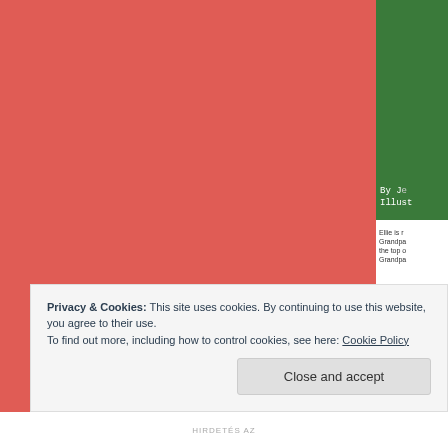[Figure (screenshot): Partial view of a webpage showing a red/coral colored book cover on the left, a partial green book cover on the upper right with white text 'By J...' and 'Illust...', and a book description text and yellow Buy button on the right side.]
Ellie is m... Grandpa... the top o... Grandpa...
Privacy & Cookies: This site uses cookies. By continuing to use this website, you agree to their use.
To find out more, including how to control cookies, see here: Cookie Policy
Close and accept
HIRDETÉS AZ